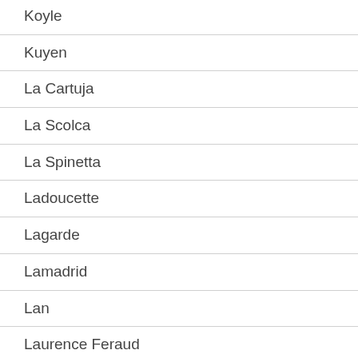Koyle
Kuyen
La Cartuja
La Scolca
La Spinetta
Ladoucette
Lagarde
Lamadrid
Lan
Laurence Feraud